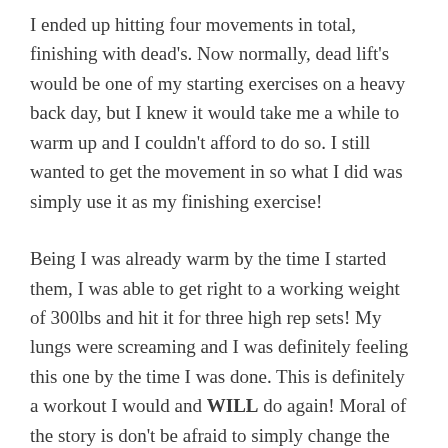I ended up hitting four movements in total, finishing with dead's. Now normally, dead lift's would be one of my starting exercises on a heavy back day, but I knew it would take me a while to warm up and I couldn't afford to do so. I still wanted to get the movement in so what I did was simply use it as my finishing exercise!
Being I was already warm by the time I started them, I was able to get right to a working weight of 300lbs and hit it for three high rep sets! My lungs were screaming and I was definitely feeling this one by the time I was done. This is definitely a workout I would and WILL do again! Moral of the story is don't be afraid to simply change the order in which you do things. It can be a good change of pace and completely change the dynamic of the workout. Try this one out and let me know what